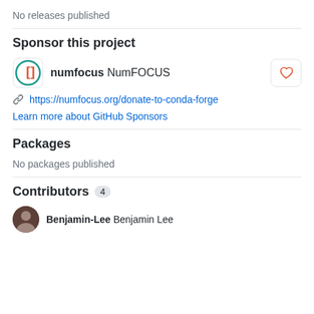No releases published
Sponsor this project
numfocus NumFOCUS
https://numfocus.org/donate-to-conda-forge
Learn more about GitHub Sponsors
Packages
No packages published
Contributors 4
Benjamin-Lee Benjamin Lee